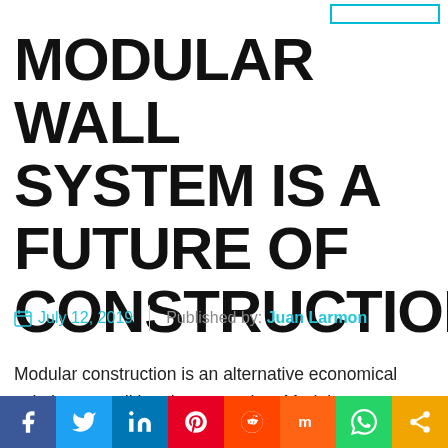MODULAR WALL SYSTEM IS A FUTURE OF CONSTRUCTION
July 12, 2019  |  Published by: Juan Larmon
Modular construction is an alternative economical solution to traditional construction. Modular construction offers adaptability and flexibility as per changing needs. The most common application of modular construction is